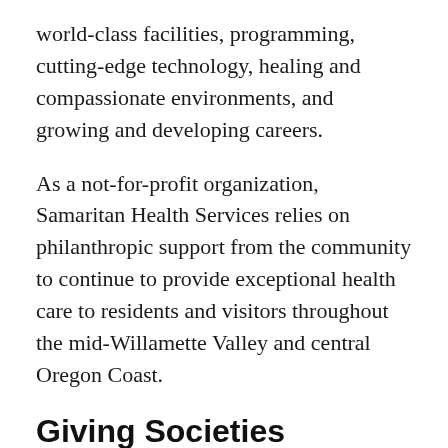world-class facilities, programming, cutting-edge technology, healing and compassionate environments, and growing and developing careers.
As a not-for-profit organization, Samaritan Health Services relies on philanthropic support from the community to continue to provide exceptional health care to residents and visitors throughout the mid-Willamette Valley and central Oregon Coast.
Giving Societies
Generations of donors have helped ensure the highest quality care at Samaritan. To